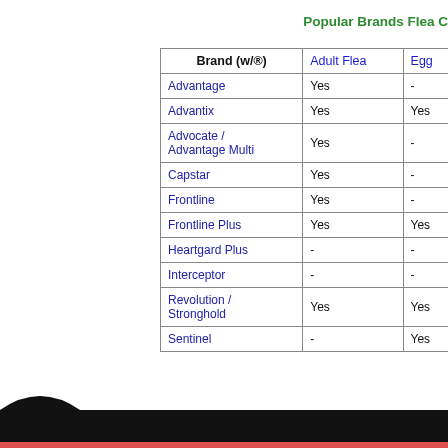Popular Brands Flea C
| Brand (w/®) | Adult Flea | Egg |
| --- | --- | --- |
| Advantage | Yes | - |
| Advantix | Yes | Yes |
| Advocate / Advantage Multi | Yes | - |
| Capstar | Yes | - |
| Frontline | Yes | - |
| Frontline Plus | Yes | Yes |
| Heartgard Plus | - | - |
| Interceptor | - | - |
| Revolution / Stronghold | Yes | Yes |
| Sentinel | - | Yes |